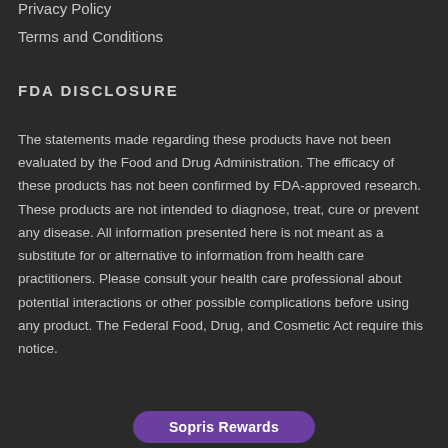Privacy Policy
Terms and Conditions
FDA DISCLOSURE
The statements made regarding these products have not been evaluated by the Food and Drug Administration. The efficacy of these products has not been confirmed by FDA-approved research. These products are not intended to diagnose, treat, cure or prevent any disease. All information presented here is not meant as a substitute for or alternative to information from health care practitioners. Please consult your health care professional about potential interactions or other possible complications before using any product. The Federal Food, Drug, and Cosmetic Act require this notice.
Sopris Rewards